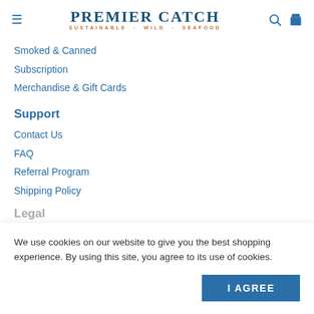PREMIER CATCH SUSTAINABLE · WILD · SEAFOOD
Smoked & Canned
Subscription
Merchandise & Gift Cards
Support
Contact Us
FAQ
Referral Program
Shipping Policy
Legal
Shipping Policy
Privacy Policy
Shipping Policy
Subscribe & Save Policy
Terms of Service
We use cookies on our website to give you the best shopping experience. By using this site, you agree to its use of cookies.